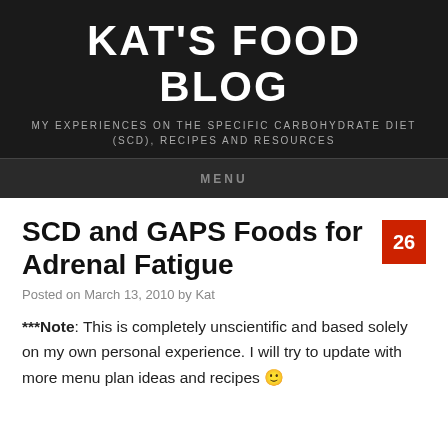KAT'S FOOD BLOG
MY EXPERIENCES ON THE SPECIFIC CARBOHYDRATE DIET (SCD), RECIPES AND RESOURCES
MENU
SCD and GAPS Foods for Adrenal Fatigue
Posted on March 13, 2010 by Kat
***Note: This is completely unscientific and based solely on my own personal experience. I will try to update with more menu plan ideas and recipes 🙂